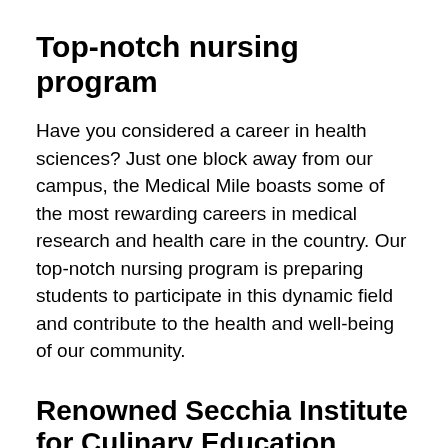Top-notch nursing program
Have you considered a career in health sciences? Just one block away from our campus, the Medical Mile boasts some of the most rewarding careers in medical research and health care in the country. Our top-notch nursing program is preparing students to participate in this dynamic field and contribute to the health and well-being of our community.
Renowned Secchia Institute for Culinary Education
Maybe you like food. Yes, we have a number of